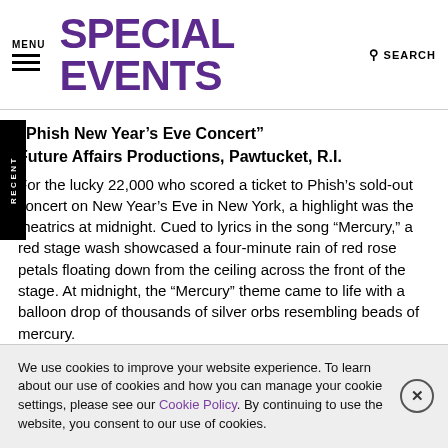MENU | SPECIAL EVENTS | SEARCH
“Phish New Year’s Eve Concert”
Future Affairs Productions, Pawtucket, R.I.
For the lucky 22,000 who scored a ticket to Phish’s sold-out concert on New Year’s Eve in New York, a highlight was the theatrics at midnight. Cued to lyrics in the song “Mercury,” a red stage wash showcased a four-minute rain of red rose petals floating down from the ceiling across the front of the stage. At midnight, the “Mercury” theme came to life with a balloon drop of thousands of silver orbs resembling beads of mercury.
We use cookies to improve your website experience. To learn about our use of cookies and how you can manage your cookie settings, please see our Cookie Policy. By continuing to use the website, you consent to our use of cookies.